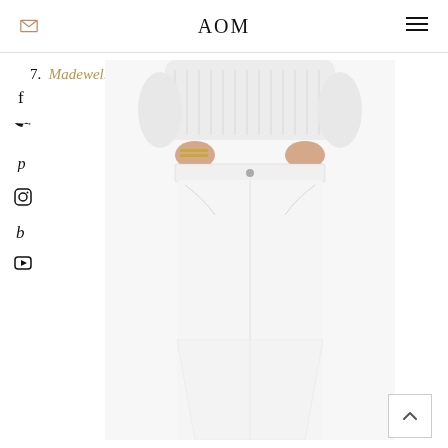AOM
7. Madewell
[Figure (photo): Woman wearing white skinny jeans and a white knit sweater, hands in pockets, with gold bracelets visible. The image shows from the waist down to below the knees, showcasing the white denim jeans.]
[Figure (infographic): Vertical column of social media icons on the left side: Facebook, Twitter, Pinterest, Instagram, Bloglovin, YouTube]